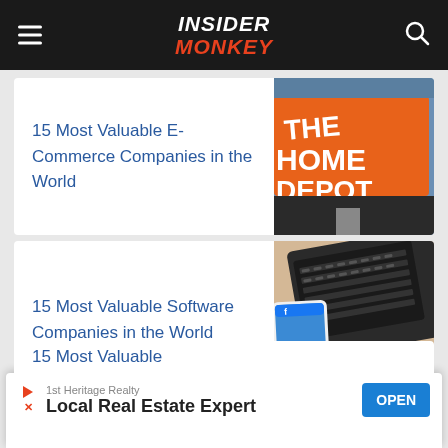INSIDER MONKEY
15 Most Valuable E-Commerce Companies in the World
[Figure (photo): The Home Depot sign close-up with orange background]
15 Most Valuable Software Companies in the World
[Figure (photo): Laptop and phone with Facebook app on screen]
1st Heritage Realty
Local Real Estate Expert
15 Most Valuable